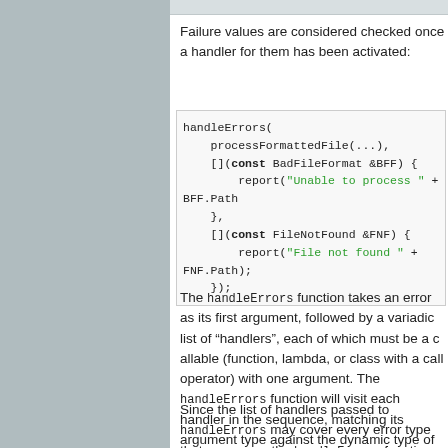Failure values are considered checked once a handler for them has been activated:
[Figure (screenshot): Code block showing handleErrors( processFormattedFile(...), [](const BadFileFormat &BFF) { report("Unable to process " + BFF.Path ...), }, [](const FileNotFound &FNF) { report("File not found " + FNF.Path); });]
The handleErrors function takes an error as its first argument, followed by a variadic list of "handlers", each of which must be a callable (function, lambda, or class with a call operator) with one argument. The handleErrors function will visit each handler in the sequence, matching its argument type against the dynamic type of the error, and calling the first handler that matches. This is the same decision process used to decide which catch clause to run for a C++ exception.
Since the list of handlers passed to handleErrors may not cover every error type that can occur, the handleErrors function also